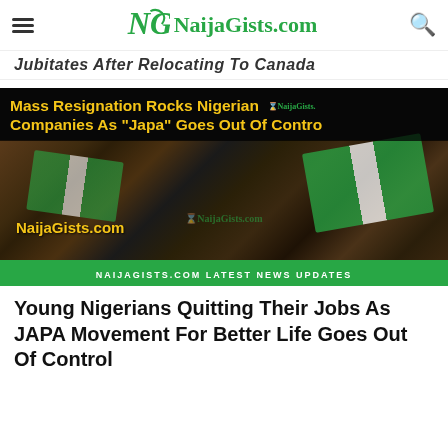NaijaGists.com
Jubitates After Relocating To Canada
[Figure (photo): Crowd of young Nigerians waving Nigerian flags outdoors, with overlay text: 'Mass Resignation Rocks Nigerian Companies As "Japa" Goes Out Of Control' and watermark 'NaijaGists.com', bottom bar reads 'NAIJAGISTS.COM LATEST NEWS UPDATES']
Young Nigerians Quitting Their Jobs As JAPA Movement For Better Life Goes Out Of Control